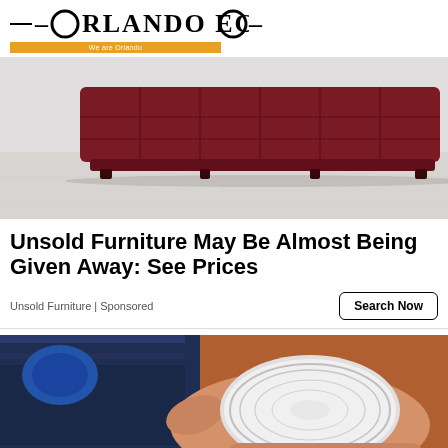ORLANDO ECHO — We are Orlando
[Figure (photo): Photo of a dark red/burgundy leather tufted sofa/couch on a light gray floor background]
Unsold Furniture May Be Almost Being Given Away: See Prices
Unsold Furniture | Sponsored
[Figure (photo): Photo of a hand holding a tin can lid/bottom, with blue shelving visible in the background]